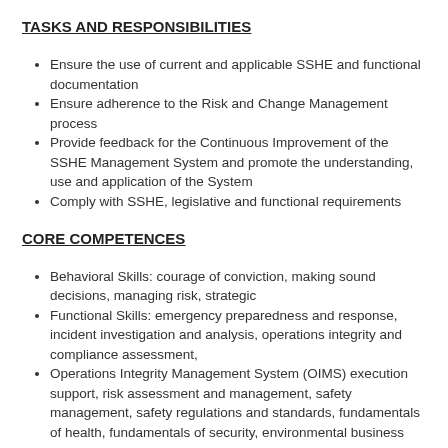TASKS AND RESPONSIBILITIES
Ensure the use of current and applicable SSHE and functional documentation
Ensure adherence to the Risk and Change Management process
Provide feedback for the Continuous Improvement of the SSHE Management System and promote the understanding, use and application of the System
Comply with SSHE, legislative and functional requirements
CORE COMPETENCES
Behavioral Skills: courage of conviction, making sound decisions, managing risk, strategic
Functional Skills: emergency preparedness and response, incident investigation and analysis, operations integrity and compliance assessment,
Operations Integrity Management System (OIMS) execution support, risk assessment and management, safety management, safety regulations and standards, fundamentals of health, fundamentals of security, environmental business planning, environmental standards, regulation development and advocacy, regulatory compliance and permitting